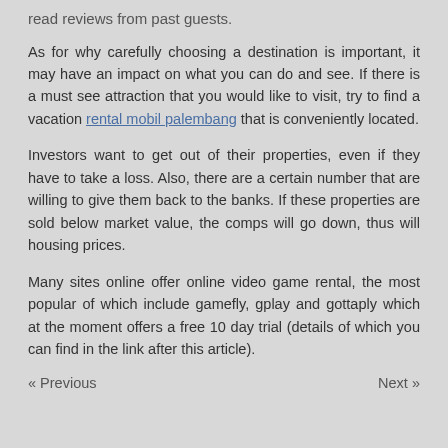read reviews from past guests.
As for why carefully choosing a destination is important, it may have an impact on what you can do and see. If there is a must see attraction that you would like to visit, try to find a vacation rental mobil palembang that is conveniently located.
Investors want to get out of their properties, even if they have to take a loss. Also, there are a certain number that are willing to give them back to the banks. If these properties are sold below market value, the comps will go down, thus will housing prices.
Many sites online offer online video game rental, the most popular of which include gamefly, gplay and gottaply which at the moment offers a free 10 day trial (details of which you can find in the link after this article).
« Previous    Next »